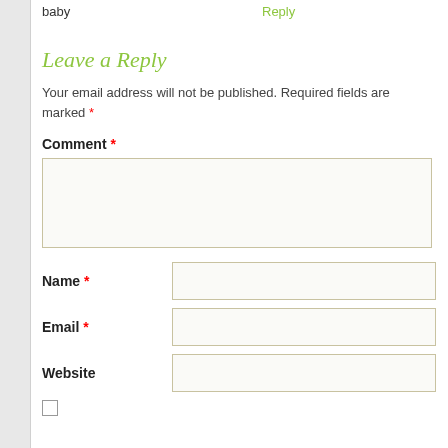baby
Reply
Leave a Reply
Your email address will not be published. Required fields are marked *
Comment *
Name *
Email *
Website